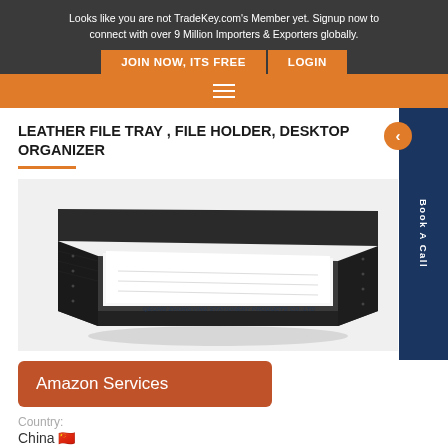Looks like you are not TradeKey.com's Member yet. Signup now to connect with over 9 Million Importers & Exporters globally.
JOIN NOW, ITS FREE | LOGIN
LEATHER FILE TRAY , FILE HOLDER, DESKTOP ORGANIZER
[Figure (photo): A black leather file tray / desktop organizer containing documents, shown at an angle on a white background. Watermark text reads: QEONG ZHONGYING STATIONERY PRODUCTS CO.,LTD]
Amazon Services
Country:
China 🇨🇳